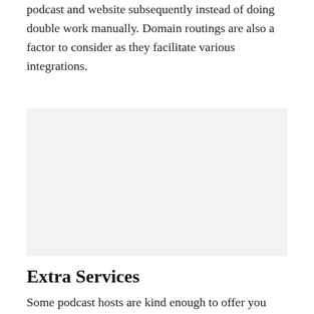podcast and website subsequently instead of doing double work manually. Domain routings are also a factor to consider as they facilitate various integrations.
[Figure (other): A light gray rectangular placeholder image block.]
Extra Services
Some podcast hosts are kind enough to offer you some extra